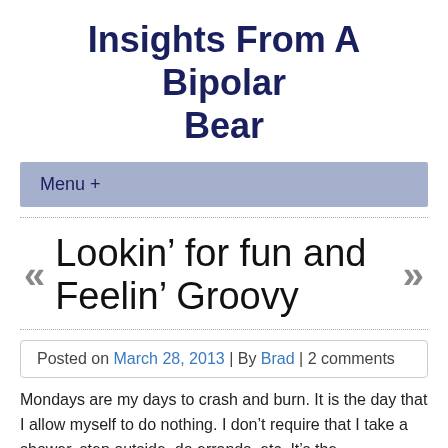Insights From A Bipolar Bear
Menu +
Lookin’ for fun and Feelin’ Groovy
Posted on March 28, 2013 | By Brad | 2 comments
Mondays are my days to crash and burn. It is the day that I allow myself to do nothing. I don’t require that I take a shower, step outside, do errands, etc. It’s the